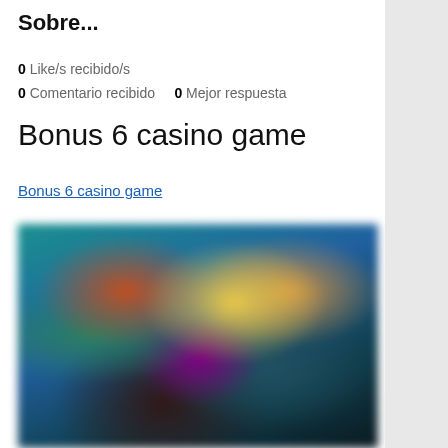Sobre...
0 Like/s recibido/s
0 Comentario recibido    0 Mejor respuesta
Bonus 6 casino game
Bonus 6 casino game
[Figure (photo): Blurred screenshot of a casino game interface showing colorful characters and game elements with teal/blue background]